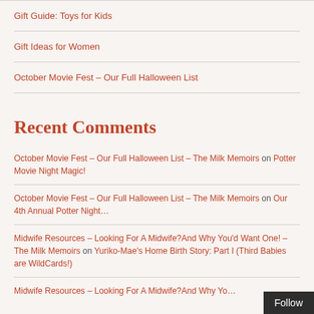Gift Guide: Toys for Kids
Gift Ideas for Women
October Movie Fest – Our Full Halloween List
Recent Comments
October Movie Fest – Our Full Halloween List – The Milk Memoirs on Potter Movie Night Magic!
October Movie Fest – Our Full Halloween List – The Milk Memoirs on Our 4th Annual Potter Night…
Midwife Resources – Looking For A Midwife?And Why You'd Want One! – The Milk Memoirs on Yuriko-Mae's Home Birth Story: Part I (Third Babies are WildCards!)
Midwife Resources – Looking For A Midwife?And Why Yo…